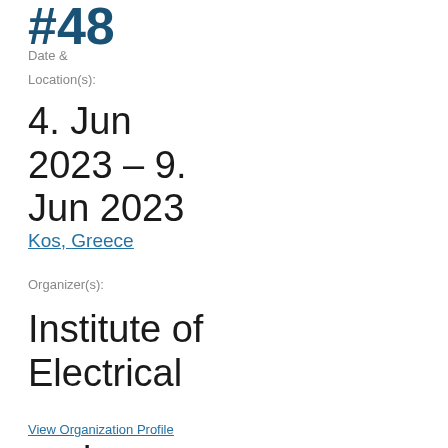#48
Date &
Location(s):
4. Jun 2023 – 9. Jun 2023
Kos, Greece
Organizer(s):
Institute of Electrical and Electronics Engineers (IEEE)
View Organization Profile